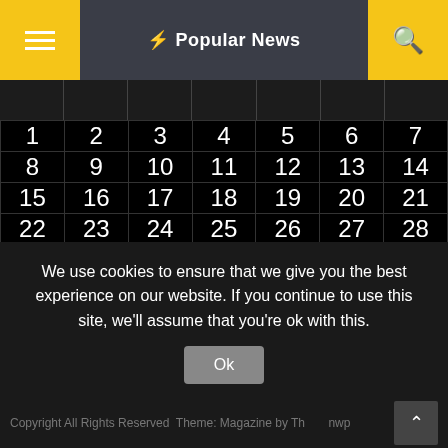Popular News
| Su | M | T | W | Th | F | Sa |
| --- | --- | --- | --- | --- | --- | --- |
| 1 | 2 | 3 | 4 | 5 | 6 | 7 |
| 8 | 9 | 10 | 11 | 12 | 13 | 14 |
| 15 | 16 | 17 | 18 | 19 | 20 | 21 |
| 22 | 23 | 24 | 25 | 26 | 27 | 28 |
| 29 | 30 | 31 |  |  |  |  |
« Feb
We use cookies to ensure that we give you the best experience on our website. If you continue to use this site, we'll assume that you're ok with this.
Copyright All Rights Reserved  Theme: Magazine by ThemeInWP